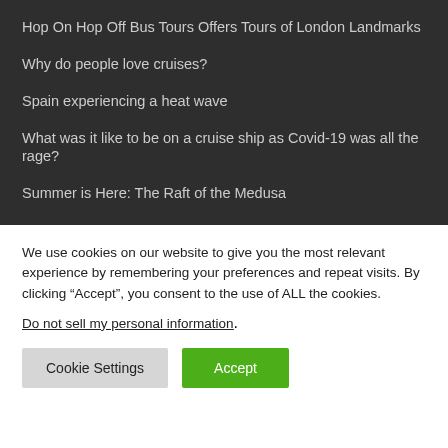Hop On Hop Off Bus Tours Offers Tours of London Landmarks
Why do people love cruises?
Spain experiencing a heat wave
What was it like to be on a cruise ship as Covid-19 was all the rage?
Summer is Here: The Raft of the Medusa
We use cookies on our website to give you the most relevant experience by remembering your preferences and repeat visits. By clicking “Accept”, you consent to the use of ALL the cookies.
Do not sell my personal information.